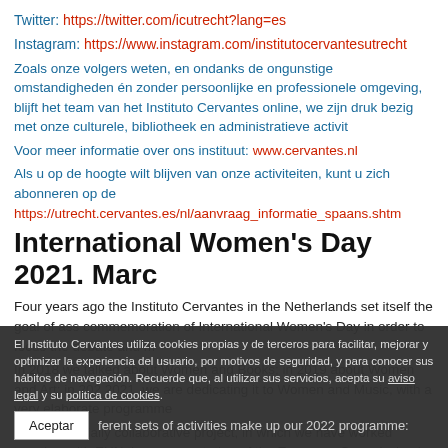Twitter: https://twitter.com/icutrecht?lang=es
Instagram: https://www.instagram.com/institutocervantesutrecht
Zoals onze volgers weten, en ondanks de ongunstige omstandigheden én zonder persoonlijke en professionele omgeving, blijft het team van het Instituto Cervantes online, we zijn druk bezig met onze culturele, bibliotheek en administratieve activit
Voor meer informatie over ons instituut: www.cervantes.nl
Als u op de hoogte wilt blijven van onze activiteiten, kunt u zich abonneren op de https://utrecht.cervantes.es/nl/aanvraag_informatie_spaans.shtm
International Women's Day 2021. Marc
Four years ago the Instituto Cervantes in the Netherlands set itself the goal of ass commemoration of International Women's Day in order to focus the debate and m
In 2018 we talked about Women and Books; in 2019 about Women and Art; in 202 2021, we are dedicating it to Women and Music, with a very elaborate programme
In an essentially collaborative project, in which we have worked together with EUN the representation of the European Commission in the Netherlands and the OBA
El Instituto Cervantes utiliza cookies propias y de terceros para facilitar, mejorar y optimizar la experiencia del usuario, por motivos de seguridad, y para conocer sus hábitos de navegación. Recuerde que, al utilizar sus servicios, acepta su aviso legal y su politica de cookies.
ferent sets of activities make up our 2022 programme: